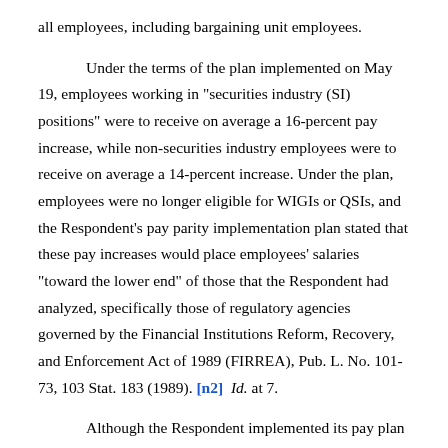all employees, including bargaining unit employees.
Under the terms of the plan implemented on May 19, employees working in "securities industry (SI) positions" were to receive on average a 16-percent pay increase, while non-securities industry employees were to receive on average a 14-percent increase. Under the plan, employees were no longer eligible for WIGIs or QSIs, and the Respondent's pay parity implementation plan stated that these pay increases would place employees' salaries "toward the lower end" of those that the Respondent had analyzed, specifically those of regulatory agencies governed by the Financial Institutions Reform, Recovery, and Enforcement Act of 1989 (FIRREA), Pub. L. No. 101-73, 103 Stat. 183 (1989). [n2] Id. at 7.
Although the Respondent implemented its pay plan on May 19, the Respondent's payroll office was unable to process the new plan until August. On November 8, the Panel resolved